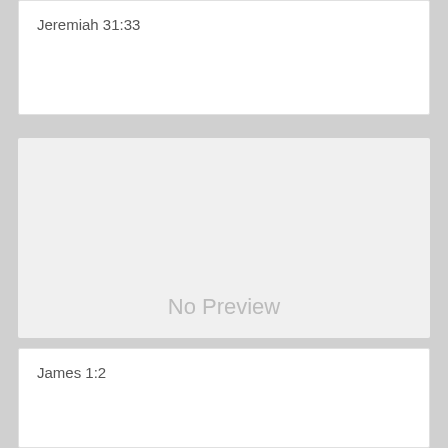Jeremiah 31:33
[Figure (other): No Preview placeholder box with light gray background and 'No Preview' text]
James 1:2